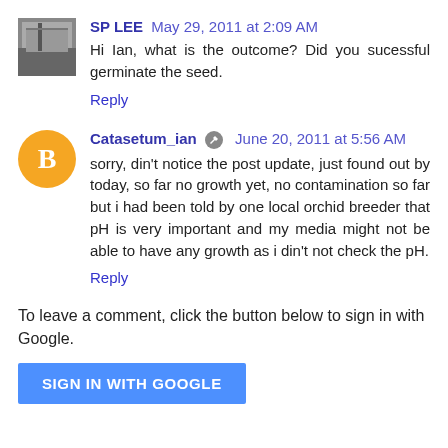SP LEE May 29, 2011 at 2:09 AM
Hi Ian, what is the outcome? Did you sucessful germinate the seed.
Reply
Catasetum_ian June 20, 2011 at 5:56 AM
sorry, din't notice the post update, just found out by today, so far no growth yet, no contamination so far but i had been told by one local orchid breeder that pH is very important and my media might not be able to have any growth as i din't not check the pH.
Reply
To leave a comment, click the button below to sign in with Google.
SIGN IN WITH GOOGLE